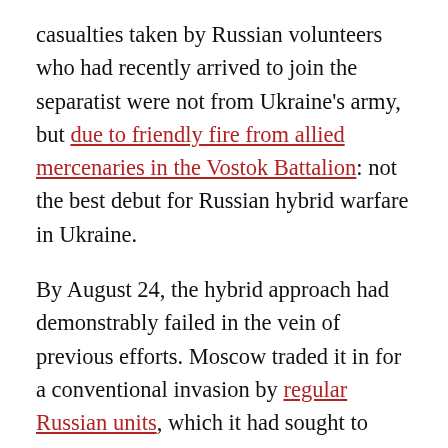casualties taken by Russian volunteers who had recently arrived to join the separatist were not from Ukraine's army, but due to friendly fire from allied mercenaries in the Vostok Battalion: not the best debut for Russian hybrid warfare in Ukraine.
By August 24, the hybrid approach had demonstrably failed in the vein of previous efforts. Moscow traded it in for a conventional invasion by regular Russian units, which it had sought to avoid. The invasion in August of 2014 marked the transition to conventional war as the deciding approach, but with